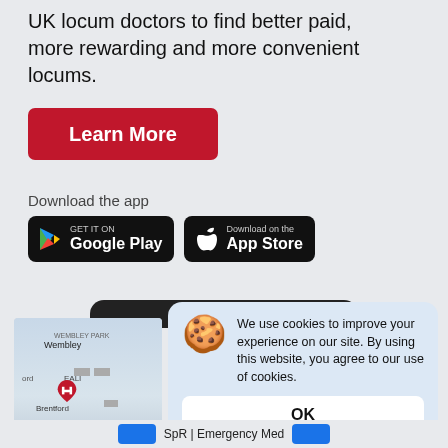UK locum doctors to find better paid, more rewarding and more convenient locums.
[Figure (screenshot): Red 'Learn More' button]
Download the app
[Figure (screenshot): Google Play and App Store download buttons on dark background]
[Figure (screenshot): Mobile app screenshot showing a map with Wembley, Brentford, Richmond locations and a hospital marker, overlaid by a cookie consent dialog saying 'We use cookies to improve your experience on our site. By using this website, you agree to our use of cookies.' with an OK button, and a bottom bar showing SpR | Emergency Med]